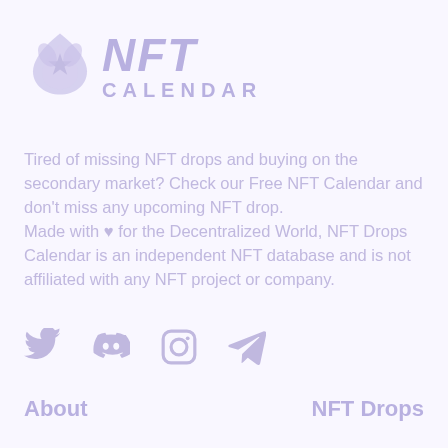[Figure (logo): NFT Calendar logo: a flame/drop icon with a star, next to bold italic text 'NFT' and 'CALENDAR' in purple/lavender]
Tired of missing NFT drops and buying on the secondary market? Check our Free NFT Calendar and don't miss any upcoming NFT drop.
Made with ♥ for the Decentralized World, NFT Drops Calendar is an independent NFT database and is not affiliated with any NFT project or company.
[Figure (infographic): Row of four social media icons: Twitter bird, Discord, Instagram camera, Telegram paper plane — all in lavender/purple color]
About                                               NFT Drops